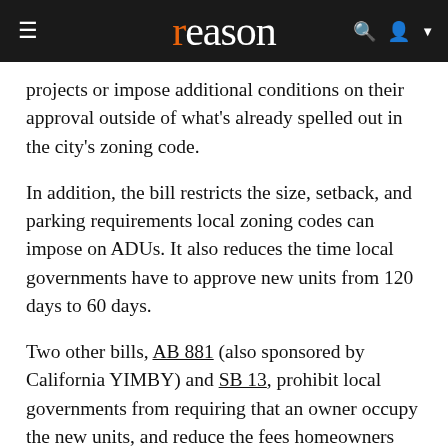reason
projects or impose additional conditions on their approval outside of what's already spelled out in the city's zoning code.
In addition, the bill restricts the size, setback, and parking requirements local zoning codes can impose on ADUs. It also reduces the time local governments have to approve new units from 120 days to 60 days.
Two other bills, AB 881 (also sponsored by California YIMBY) and SB 13, prohibit local governments from requiring that an owner occupy the new units, and reduce the fees homeowners can be charged to build them.
These provisions helped build political support for the bill among homeowners, says Lewis, who tells Reason that they "see some self-interest in being able to create some rental income for themselves."